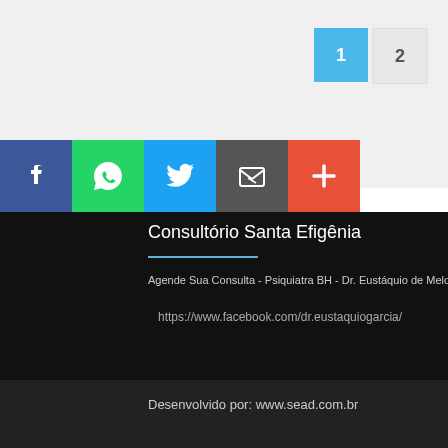[Figure (other): Pagination buttons: active page 1 (blue), page 2 (grey)]
[Figure (other): Social share buttons: Facebook (blue), WhatsApp (green), Twitter (blue), Email/Share (dark grey), Add/Plus (red-orange)]
Consultório Santa Efigênia
Agende Sua Consulta - Psiquiatra BH - Dr. Eustáquio de Melo C
https://www.facebook.com/dr.eustaquiogarcia/
Desenvolvido por: www.sead.com.br